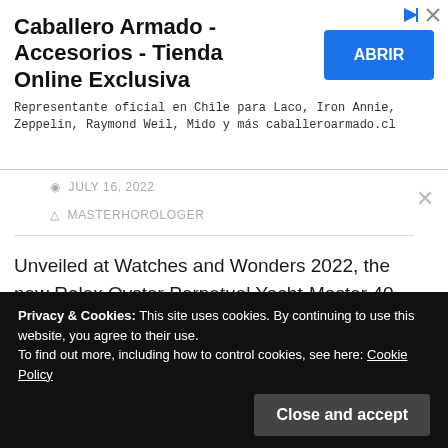[Figure (screenshot): Advertisement banner for Caballero Armado online store with blue ABRIR button]
Caballero Armado - Accesorios - Tienda Online Exclusiva
Representante oficial en Chile para Laco, Iron Annie, Zeppelin, Raymond Weil, Mido y más caballeroarmado.cl
JULY 16, 2022
MASTERHOROLOGER
Unveiled at Watches and Wonders 2022, the new Rolex Oyster Perpetual Yacht-Master 40 watch in white gold is adorned with diamonds and colored sapphires. Carrying the Superlative Chronometer certification, this new gem-set version of the Oyster Perpetual Yacht-Master 40 is equipped with the self-
Privacy & Cookies: This site uses cookies. By continuing to use this website, you agree to their use.
To find out more, including how to control cookies, see here: Cookie Policy
Close and accept